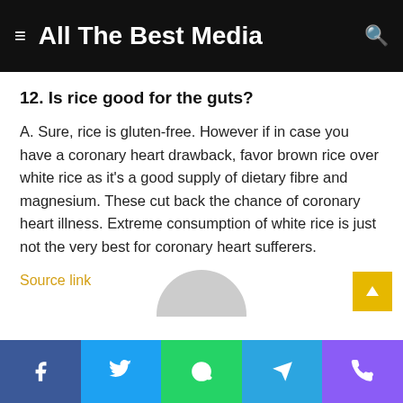All The Best Media
12. Is rice good for the guts?
A. Sure, rice is gluten-free. However if in case you have a coronary heart drawback, favor brown rice over white rice as it's a good supply of dietary fibre and magnesium. These cut back the chance of coronary heart illness. Extreme consumption of white rice is just not the very best for coronary heart sufferers.
Source link
Facebook | Twitter | WhatsApp | Telegram | Phone